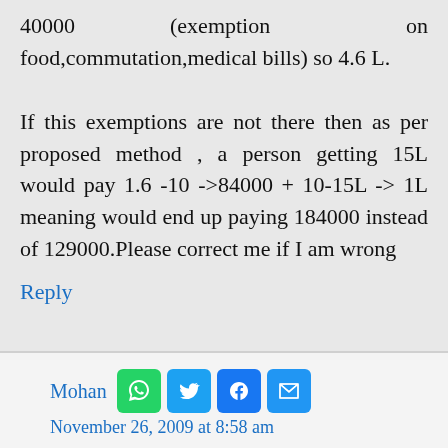40000 (exemption on food,commutation,medical bills) so 4.6 L. If this exemptions are not there then as per proposed method , a person getting 15L would pay 1.6 -10 ->84000 + 10-15L -> 1L meaning would end up paying 184000 instead of 129000.Please correct me if I am wrong
Reply
Mohan
November 26, 2009 at 8:58 am